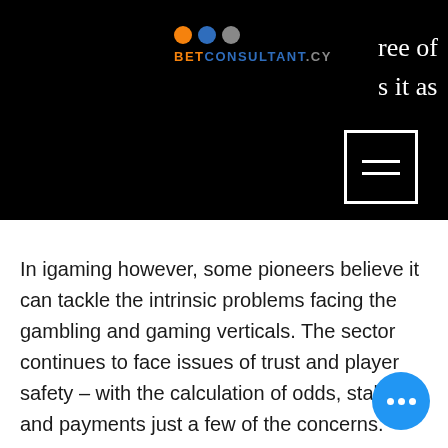BETCONSULTANT.CY
ree of
s it as
In igaming however, some pioneers believe it can tackle the intrinsic problems facing the gambling and gaming verticals. The sector continues to face issues of trust and player safety – with the calculation of odds, stakes and payments just a few of the concerns.
At nChain, they've recognised that integrating blockchain technology such as their Kensei solution on igaming platforms, has drastically alleviated industry's reputational issues around